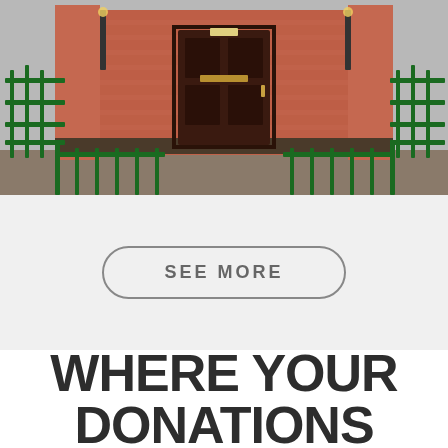[Figure (photo): Exterior photo of a brick building with green iron railings and gates, dark wooden front door with metal fittings, red brick walls with decorative elements]
SEE MORE
WHERE YOUR DONATIONS